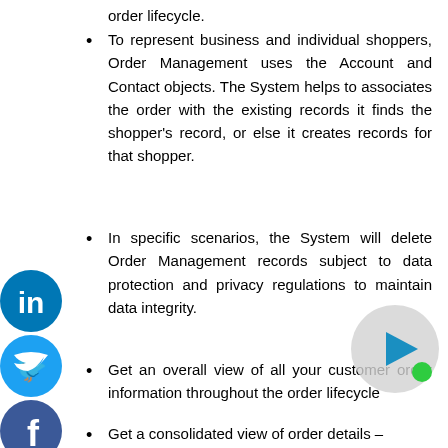order lifecycle.
To represent business and individual shoppers, Order Management uses the Account and Contact objects. The System helps to associates the order with the existing records it finds the shopper's record, or else it creates records for that shopper.
In specific scenarios, the System will delete Order Management records subject to data protection and privacy regulations to maintain data integrity.
Get an overall view of all your customer order information throughout the order lifecycle
Get a consolidated view of order details –